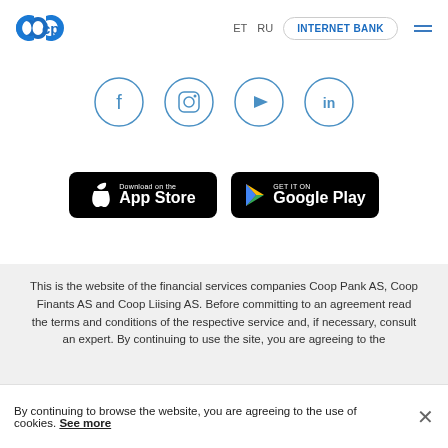[Figure (logo): Coop Pank logo — blue 'cp' letters in circular shapes]
ET  RU  INTERNET BANK  ☰
[Figure (illustration): Four social media icons in circles: Facebook, Instagram, YouTube, LinkedIn]
[Figure (illustration): App Store and Google Play download buttons]
This is the website of the financial services companies Coop Pank AS, Coop Finants AS and Coop Liising AS. Before committing to an agreement read the terms and conditions of the respective service and, if necessary, consult an expert. By continuing to use the site, you are agreeing to the
By continuing to browse the website, you are agreeing to the use of cookies. See more